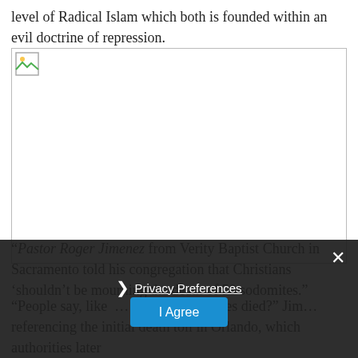level of Radical Islam which both is founded within an evil doctrine of repression.
[Figure (photo): Image placeholder (broken/unloaded image icon) with a horizontal line border]
“Pastor Roger Jimenez from Verity Baptist Church in Sacramento told his congregation that Christians ‘shouldn’t be mourning the death of 50 sodomites.”
“People say, like … that 50 sodomites died?” Jim… referencing the initial death toll in Orlando, which authorities later